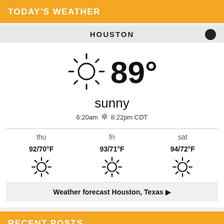TODAY'S WEATHER
HOUSTON
[Figure (infographic): Weather widget showing sunny 89° for Houston, with sunrise 6:20am and sunset 8:22pm CDT, and forecast for thu 92/70°F, fri 93/71°F, sat 94/72°F, all sunny]
Weather forecast Houston, Texas ▶
RECENT POSTS
Roundstone, Inc. hires industry expert, Heidi Pattie as CEO!